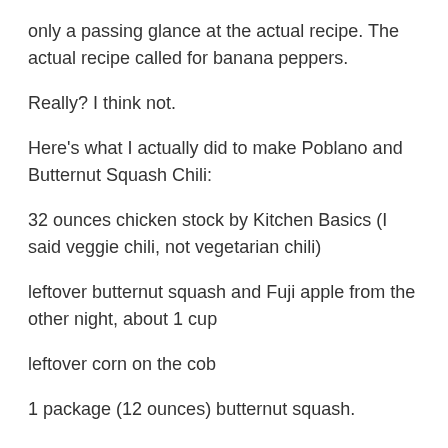only a passing glance at the actual recipe. The actual recipe called for banana peppers.
Really? I think not.
Here's what I actually did to make Poblano and Butternut Squash Chili:
32 ounces chicken stock by Kitchen Basics (I said veggie chili, not vegetarian chili)
leftover butternut squash and Fuji apple from the other night, about 1 cup
leftover corn on the cob
1 package (12 ounces) butternut squash.